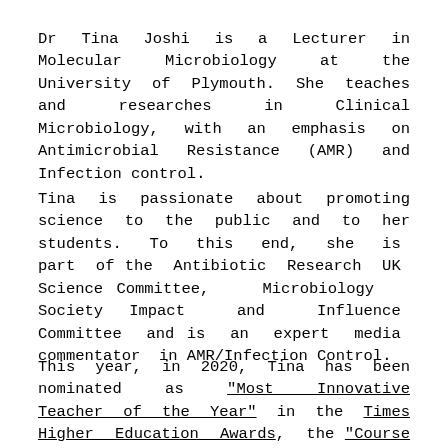Dr Tina Joshi is a Lecturer in Molecular Microbiology at the University of Plymouth. She teaches and researches in Clinical Microbiology, with an emphasis on Antimicrobial Resistance (AMR) and Infection control.
Tina is passionate about promoting science to the public and to her students. To this end, she is part of the Antibiotic Research UK Science Committee, Microbiology Society Impact and Influence Committee and is an expert media commentator in AMR/Infection Control.
This year, in 2020, Tina has been nominated as "Most Innovative Teacher of the Year" in the Times Higher Education Awards, the "Course for Higher Education"